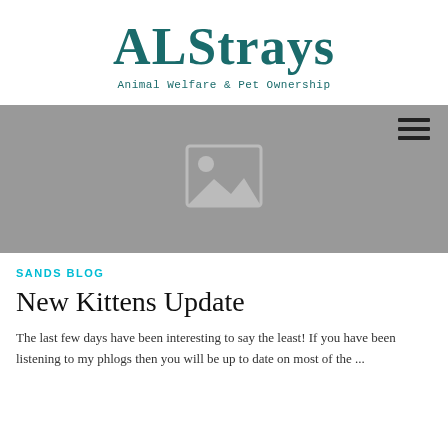ALStrays
Animal Welfare & Pet Ownership
[Figure (photo): Placeholder image with grey background and image icon]
SANDS BLOG
New Kittens Update
The last few days have been interesting to say the least! If you have been listening to my phlogs then you will be up to date on most of the ...